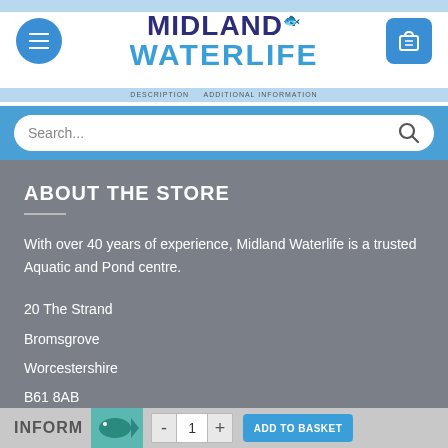[Figure (logo): Midland Waterlife logo with navigation buttons and search bar at top of webpage]
ABOUT THE STORE
With over 40 years of experience, Midland Waterlife is a trusted Aquatic and Pond centre.
20 The Strand
Bromsgrove
Worcestershire
B61 8AB
INFORM   -  1  +   ADD TO BASKET